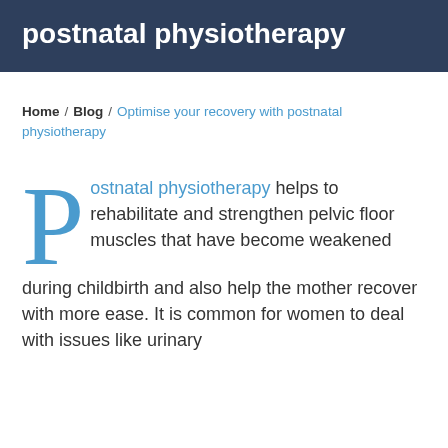postnatal physiotherapy
Home / Blog / Optimise your recovery with postnatal physiotherapy
Postnatal physiotherapy helps to rehabilitate and strengthen pelvic floor muscles that have become weakened during childbirth and also help the mother recover with more ease. It is common for women to deal with issues like urinary